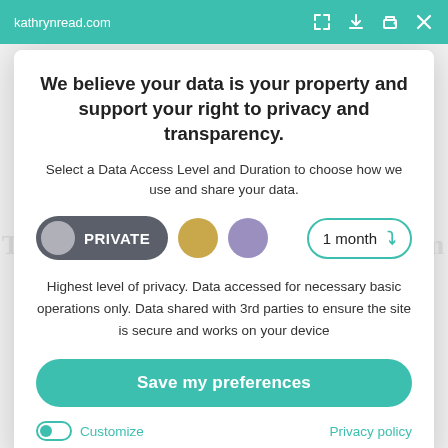kathrynread.com
We believe your data is your property and support your right to privacy and transparency.
Select a Data Access Level and Duration to choose how we use and share your data.
PRIVATE  [gold circle]  [purple circle]  1 month ▾
Highest level of privacy. Data accessed for necessary basic operations only. Data shared with 3rd parties to ensure the site is secure and works on your device
Save my preferences
Customize   Privacy policy